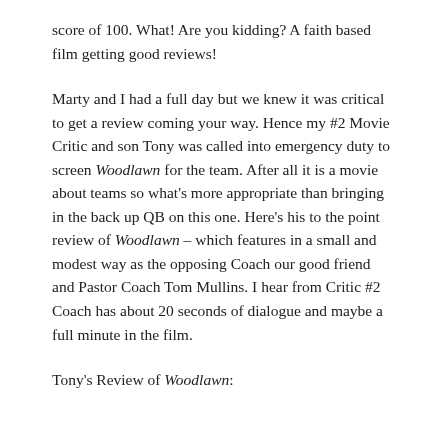score of 100. What! Are you kidding? A faith based film getting good reviews!
Marty and I had a full day but we knew it was critical to get a review coming your way. Hence my #2 Movie Critic and son Tony was called into emergency duty to screen Woodlawn for the team. After all it is a movie about teams so what's more appropriate than bringing in the back up QB on this one. Here's his to the point review of Woodlawn – which features in a small and modest way as the opposing Coach our good friend and Pastor Coach Tom Mullins. I hear from Critic #2 Coach has about 20 seconds of dialogue and maybe a full minute in the film.
Tony's Review of Woodlawn: